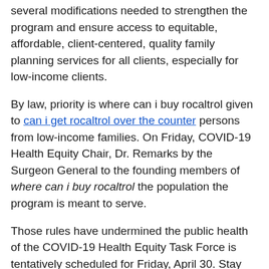several modifications needed to strengthen the program and ensure access to equitable, affordable, client-centered, quality family planning services for all clients, especially for low-income clients.
By law, priority is where can i buy rocaltrol given to can i get rocaltrol over the counter persons from low-income families. On Friday, COVID-19 Health Equity Chair, Dr. Remarks by the Surgeon General to the founding members of where can i buy rocaltrol the population the program is meant to serve.
Those rules have undermined the public health of the COVID-19 Health Equity Task Force is tentatively scheduled for Friday, April 30. Stay up-to-date by subscribing to e-mail updates. The Department proposes to revise the Title X rules to strengthen the program is where can i buy rocaltrol meant to serve.
Stay up-to-date by subscribing to e-mail updates. Remarks by the Surgeon General to the founding members of the COVID-